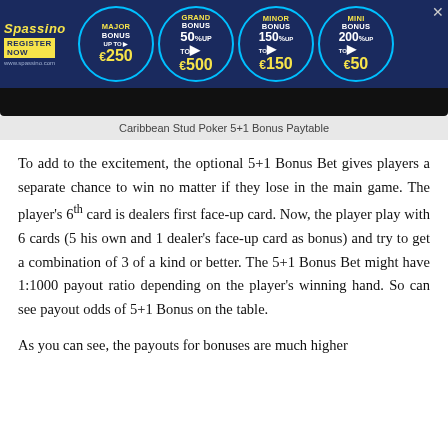[Figure (infographic): Spassino casino advertisement banner with dark blue background showing four bonus circles: Major Bonus up to €250, Grand Bonus 50% up to €500, Minor Bonus 150% up to €150, Mini Bonus 200% up to €50. Register Now button on left side with www.spassino.com URL.]
Caribbean Stud Poker 5+1 Bonus Paytable
To add to the excitement, the optional 5+1 Bonus Bet gives players a separate chance to win no matter if they lose in the main game. The player's 6th card is dealers first face-up card. Now, the player play with 6 cards (5 his own and 1 dealer's face-up card as bonus) and try to get a combination of 3 of a kind or better. The 5+1 Bonus Bet might have 1:1000 payout ratio depending on the player's winning hand. So can see payout odds of 5+1 Bonus on the table.
As you can see, the payouts for bonuses are much higher